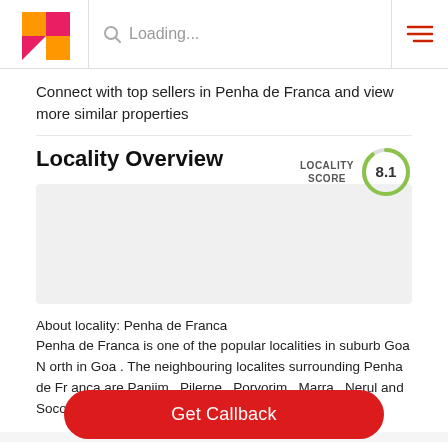Loading...
Connect with top sellers in Penha de Franca and view more similar properties
Locality Overview
[Figure (map): Map placeholder showing locality area for Penha de Franca]
LOCALITY SCORE 8.1
About locality: Penha de Franca
Penha de Franca is one of the popular localities in suburb Goa North in Goa . The neighbouring localites surrounding Penha de Franca are Panjim , Pilerne , Porvorim , Marra , Nerul and Socorro . IIAS ... Know more about Penha de Franca
Builder Nearby
About Builder